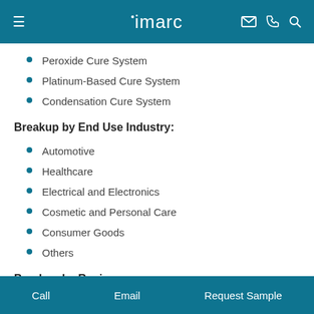imarc
Peroxide Cure System
Platinum-Based Cure System
Condensation Cure System
Breakup by End Use Industry:
Automotive
Healthcare
Electrical and Electronics
Cosmetic and Personal Care
Consumer Goods
Others
Breakup by Region:
Call    Email    Request Sample